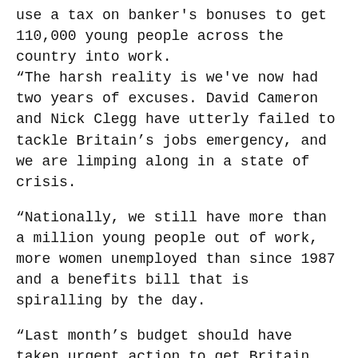use a tax on banker's bonuses to get 110,000 young people across the country into work. “The harsh reality is we've now had two years of excuses. David Cameron and Nick Clegg have utterly failed to tackle Britain’s jobs emergency, and we are limping along in a state of crisis.
“Nationally, we still have more than a million young people out of work, more women unemployed than since 1987 and a benefits bill that is spiralling by the day.
“Last month’s budget should have taken urgent action to get Britain back to work. Instead we got a hand-out for millionaires and a slap down for anyone on tax credits.
“I have consistently said that jobs are my main priority in Barnsley Central, I have that getting people off for